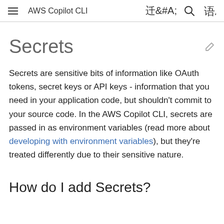AWS Copilot CLI
Secrets
Secrets are sensitive bits of information like OAuth tokens, secret keys or API keys - information that you need in your application code, but shouldn't commit to your source code. In the AWS Copilot CLI, secrets are passed in as environment variables (read more about developing with environment variables), but they're treated differently due to their sensitive nature.
How do I add Secrets?